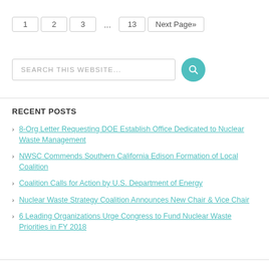1 2 3 ... 13 Next Page»
[Figure (other): Search bar with teal search button]
RECENT POSTS
8-Org Letter Requesting DOE Establish Office Dedicated to Nuclear Waste Management
NWSC Commends Southern California Edison Formation of Local Coalition
Coalition Calls for Action by U.S. Department of Energy
Nuclear Waste Strategy Coalition Announces New Chair & Vice Chair
6 Leading Organizations Urge Congress to Fund Nuclear Waste Priorities in FY 2018